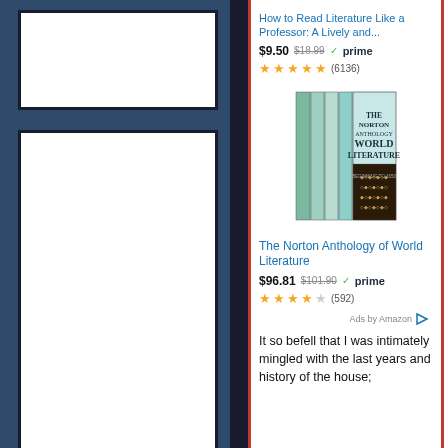[Figure (screenshot): Left panel with dark blue background containing two white rectangles with dark borders stacked vertically, resembling image placeholders]
How to Read Literature Like a Professor: A Lively and...
$9.50 $18.99 prime (6136)
[Figure (photo): Book cover image of The Norton Anthology of World Literature box set with teal and black covers]
The Norton Anthology of World Literature
$96.81 $101.90 prime (592)
Ads by Amazon
It so befell that I was intimately mingled with the last years and history of the house;